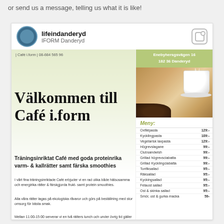or send us a message, telling us what it is like!
[Figure (screenshot): Instagram post screenshot from lifeindanderyd / IFORM Danderyd showing Café i.form website with menu and coffee photo]
lifeindanderyd
IFORM Danderyd
| Café i.form | 08-684 565 96
Enebyhersgsvägen 16
182 36 Danderyd
Välkommen till Café i.form
Träningsinriktat Café med goda proteinrika varm- & kallrätter samt färska smoothies
I vårt fina träningsinriktade Café erbjuder vi en rad olika både hälsosamma och energirika rätter & färskgjorda frukt- samt protein smoothies.
Alla våra rätter lagas på ekologiska råvaror och görs på beställning med stor omsorg för bästa smak.
Mellan 11:00-15:00 serverar vi en två rätters lunch och under övrig tid gäller hela MENU.
Meny:
| Item | Price |
| --- | --- |
| Oxfilépasta | 129:- |
| Kycklingpasta | 109:- |
| Vegetarisk laxpasta | 129:- |
| Högrevslagane | 99:- |
| Clubsandwish | 99:- |
| Grillad högrevsciabatta | 99:- |
| Grillad Kycklingciabatta | 99:- |
| Tonfiksallad | 95:- |
| Räksallad | 95:- |
| Kyckingsallad | 95:- |
| Fetaost sallad | 95:- |
| Ost & skinka sallad | 95:- |
| Smör, ost & gurka macka | 59- |